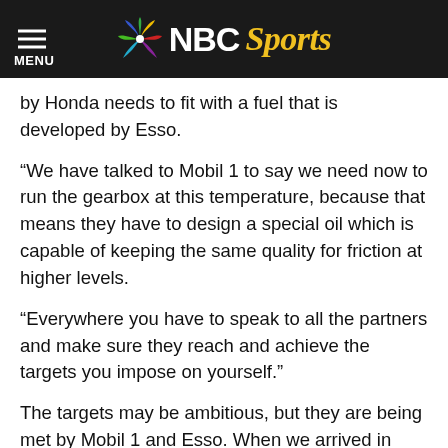NBC Sports
by Honda needs to fit with a fuel that is developed by Esso.
“We have talked to Mobil 1 to say we need now to run the gearbox at this temperature, because that means they have to design a special oil which is capable of keeping the same quality for friction at higher levels.
“Everywhere you have to speak to all the partners and make sure they reach and achieve the targets you impose on yourself.”
The targets may be ambitious, but they are being met by Mobil 1 and Esso. When we arrived in Barcelona, there was a hive of excitement around the team. A new fuel was debuting on the car that weekend following a major breakthrough, with significant gains being made over the winter.